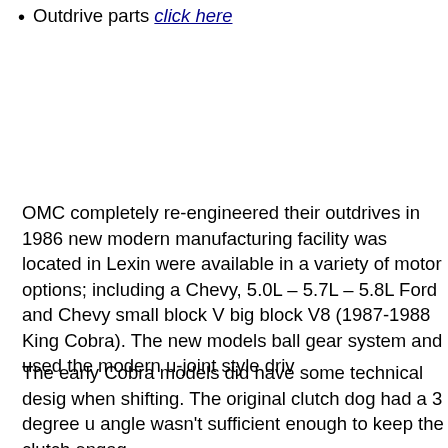Outdrive parts click here
OMC completely re-engineered their outdrives in 1986 new modern manufacturing facility was located in Lexin were available in a variety of motor options; including a Chevy, 5.0L – 5.7L – 5.8L Ford and Chevy small block V big block V8 (1987-1988 King Cobra). The new models ball gear system and used the modern u-joint style driv
The early Cobra models did have some technical desig when shifting. The original clutch dog had a 3 degree u angle wasn't sufficient enough to keep the clutch engag